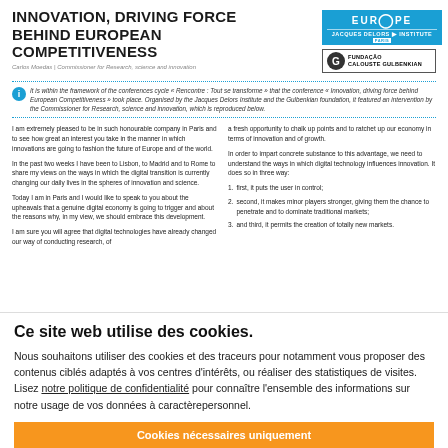INNOVATION, DRIVING FORCE BEHIND EUROPEAN COMPETITIVENESS
Carlos Moedas | Commissioner for Research, science and innovation
It is within the framework of the conferences cycle « Rencontre : Tout se transforme » that the conference « Innovation, driving force behind European Competitiveness » took place. Organised by the Jacques Delors Institute and the Gulbenkian foundation, it featured an intervention by the Commissioner for Research, science and innovation, which is reproduced below.
I am extremely pleased to be in such honourable company in Paris and to see how great an interest you take in the manner in which innovations are going to fashion the future of Europe and of the world.
In the past two weeks I have been to Lisbon, to Madrid and to Rome to share my views on the ways in which the digital transition is currently changing our daily lives in the spheres of innovation and science.
Today I am in Paris and I would like to speak to you about the upheavals that a genuine digital economy is going to trigger and about the reasons why, in my view, we should embrace this development.
I am sure you will agree that digital technologies have already changed our way of conducting research, of
a fresh opportunity to chalk up points and to ratchet up our economy in terms of innovation and of growth.
In order to impart concrete substance to this advantage, we need to understand the ways in which digital technology influences innovation. It does so in three way:
1. first, it puts the user in control;
2. second, it makes minor players stronger, giving them the chance to penetrate and to dominate traditional markets;
3. and third, it permits the creation of totally new markets.
Ce site web utilise des cookies.
Nous souhaitons utiliser des cookies et des traceurs pour notamment vous proposer des contenus ciblés adaptés à vos centres d'intérêts, ou réaliser des statistiques de visites. Lisez notre politique de confidentialité pour connaître l'ensemble des informations sur notre usage de vos données à caractèrepersonnel.
Cookies nécessaires uniquement